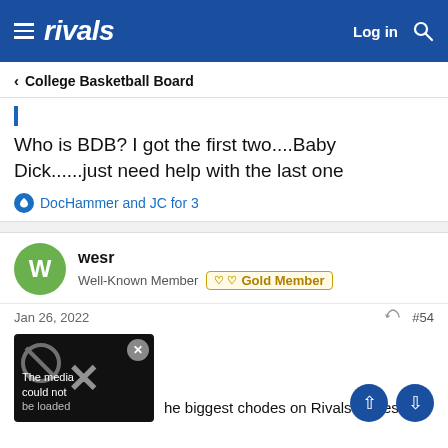rivals – Log in
< College Basketball Board
Who is BDB? I got the first two....Baby Dick......just need help with the last one
DocHammer and JC for 3
wesr
Well-Known Member  Gold Member
Jan 26, 2022  #54
[Figure (screenshot): Blocked media thumbnail: black background with no-entry symbol and X close button, text 'The media could not be loaded']
he biggest chodes on Rivals. Takes little